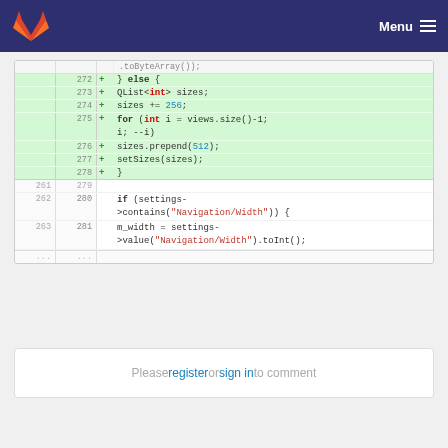GitLab Menu
[Figure (screenshot): Code diff view showing lines 272-281 of a C++ file with added lines highlighted in green and normal lines below. Added lines show QList<int> sizes, sizes += 256, for loop, sizes.prepend(512), setSizes(sizes), closing brace. Normal lines show if(settings->contains) and m_width assignment.]
Please register or sign in to comment